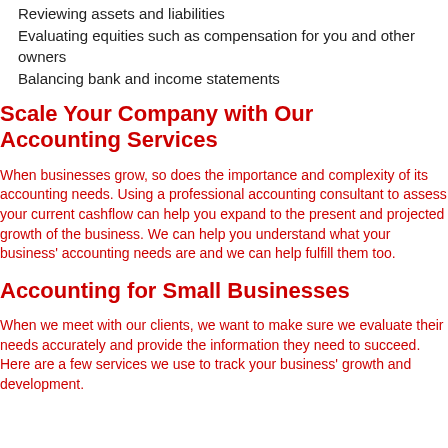Reviewing assets and liabilities
Evaluating equities such as compensation for you and other owners
Balancing bank and income statements
Scale Your Company with Our Accounting Services
When businesses grow, so does the importance and complexity of its accounting needs. Using a professional accounting consultant to assess your current cashflow can help you expand to the present and projected growth of the business. We can help you understand what your business' accounting needs are and we can help fulfill them too.
Accounting for Small Businesses
When we meet with our clients, we want to make sure we evaluate their needs accurately and provide the information they need to succeed. Here are a few services we use to track your business' growth and development.